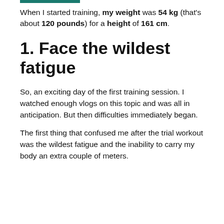When I started training, my weight was 54 kg (that's about 120 pounds) for a height of 161 cm.
1. Face the wildest fatigue
So, an exciting day of the first training session. I watched enough vlogs on this topic and was all in anticipation. But then difficulties immediately began.
The first thing that confused me after the trial workout was the wildest fatigue and the inability to carry my body an extra couple of meters.